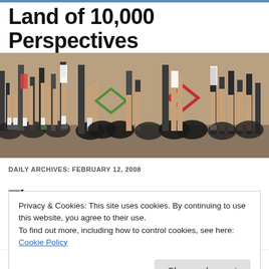Land of 10,000 Perspectives
[Figure (photo): A group of cyclists riding bicycles, showing their legs and bicycle wheels from a low angle perspective on a road.]
DAILY ARCHIVES: FEBRUARY 12, 2008
Ti... (article title partially visible, obscured by cookie banner)
Privacy & Cookies: This site uses cookies. By continuing to use this website, you agree to their use.
To find out more, including how to control cookies, see here: Cookie Policy
Close and accept
decline service to patrons who were, in fact, clearly obese.